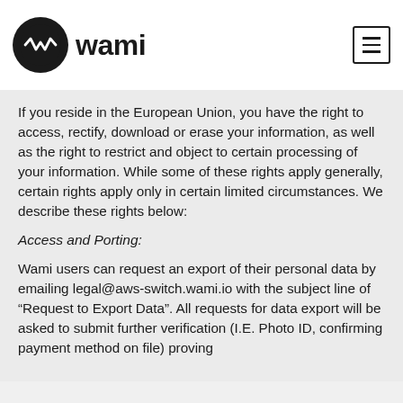[Figure (logo): Wami logo — black circle with white W waveform icon, followed by the text 'wami' in dark sans-serif]
If you reside in the European Union, you have the right to access, rectify, download or erase your information, as well as the right to restrict and object to certain processing of your information. While some of these rights apply generally, certain rights apply only in certain limited circumstances. We describe these rights below:
Access and Porting:
Wami users can request an export of their personal data by emailing legal@aws-switch.wami.io with the subject line of “Request to Export Data”. All requests for data export will be asked to submit further verification (I.E. Photo ID, confirming payment method on file) proving